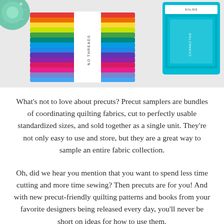[Figure (photo): Photo of colorful rainbow fabric precut bundle/bolt with a white band labeled 'THREADS', alongside a teal/turquoise box, and a sparkly floral element in the top-left corner, all on a light gray background.]
What's not to love about precuts? Precut samplers are bundles of coordinating quilting fabrics, cut to perfectly usable standardized sizes, and sold together as a single unit. They're not only easy to use and store, but they are a great way to sample an entire fabric collection.
Oh, did we hear you mention that you want to spend less time cutting and more time sewing? Then precuts are for you! And with new precut-friendly quilting patterns and books from your favorite designers being released every day, you'll never be short on ideas for how to use them.